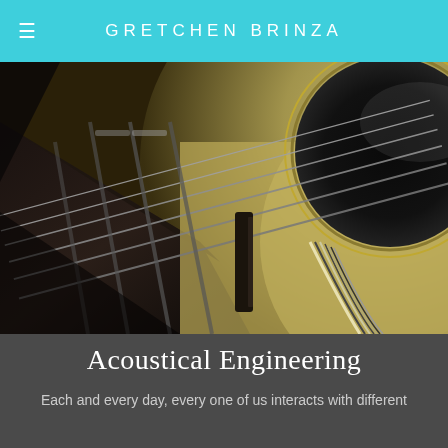GRETCHEN BRINZA
[Figure (photo): Close-up macro photograph of an acoustic guitar, showing the strings, fretboard, sound hole, and wooden body with decorative binding detail]
Acoustical Engineering
Each and every day, every one of us interacts with different